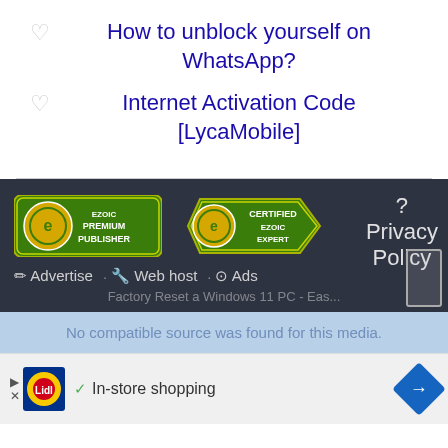♡ How to unblock yourself on WhatsApp?
♡ Internet Activation Code [LycaMobile]
[Figure (logo): Ezoic Premium Publisher badge - circular logo with E and text EZOIC PREMIUM PUBLISHER in green/yellow]
[Figure (logo): Certified Ezoic Expert badge - circular logo with E and text CERTIFIED EZOIC EXPERT in green/yellow]
? Privacy Policy
✏ Advertise · 🔧 Web host · ⊙ Ads
Factory Reset a Windows 11 PC - Eas...
No compatible source was found for this media.
[Figure (screenshot): Advertisement bar with Lidl logo, checkmark, In-store shopping text, and blue diamond arrow button]